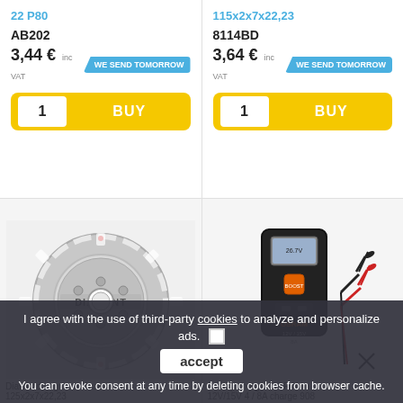22 P80
115x2x7x22,23
AB202
8114BD
3,44 € inc VAT
WE SEND TOMORROW
3,64 € inc VAT
WE SEND TOMORROW
1 BUY
1 BUY
[Figure (photo): Diamond segment blade disc with DIAMANT branding on grey background]
[Figure (photo): OSRAM battery charger device with cables and clamps]
Diamond segment blade - 125x2x7x22,23
battery charger OSRAM 12V/15V 4 / 8A charge 908
I agree with the use of third-party cookies to analyze and personalize ads.
accept
You can revoke consent at any time by deleting cookies from browser cache.